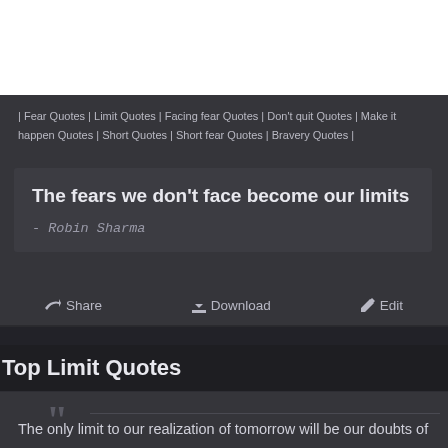[Figure (photo): White image area at top of page, partially visible]
| Fear Quotes | Limit Quotes | Facing fear Quotes | Don't quit Quotes | Make it happen Quotes | Short Quotes | Short fear Quotes | Bravery Quotes |
The fears we don't face become our limits
- Robin Sharma
Share   Download   Edit
Top Limit Quotes
““
The only limit to our realization of tomorrow will be our doubts of